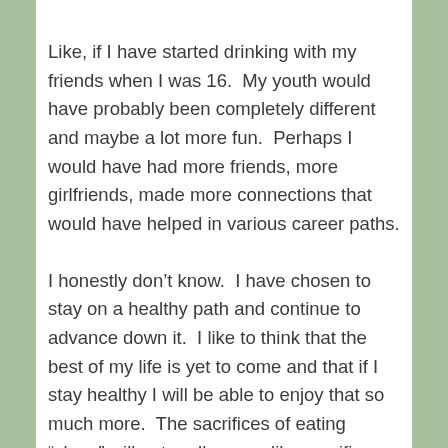Like, if I have started drinking with my friends when I was 16.  My youth would have probably been completely different and maybe a lot more fun.  Perhaps I would have had more friends, more girlfriends, made more connections that would have helped in various career paths.
I honestly don’t know.  I have chosen to stay on a healthy path and continue to advance down it.  I like to think that the best of my life is yet to come and that if I stay healthy I will be able to enjoy that so much more.  The sacrifices of eating “clean” will not really seem like sacrifices then.
Let me share a vision: